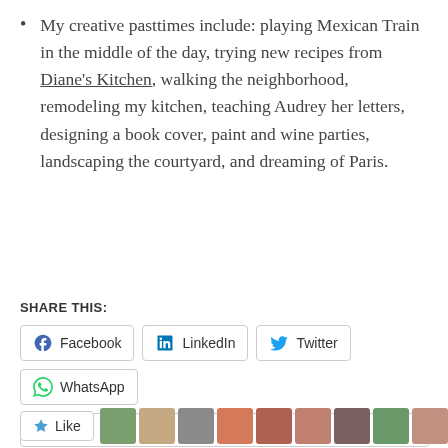My creative pasttimes include: playing Mexican Train in the middle of the day, trying new recipes from Diane's Kitchen, walking the neighborhood, remodeling my kitchen, teaching Audrey her letters, designing a book cover, paint and wine parties, landscaping the courtyard, and dreaming of Paris.
SHARE THIS:
[Figure (other): Social share buttons: Facebook, LinkedIn, Twitter, WhatsApp, More]
[Figure (other): Like button and row of user avatar thumbnails]